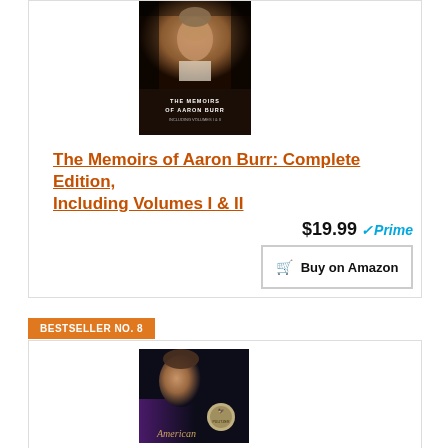[Figure (photo): Book cover for The Memoirs of Aaron Burr: Complete Edition, Including Volumes I & II — dark portrait painting of a man in 18th century attire with white cravat, title text overlay at bottom]
The Memoirs of Aaron Burr: Complete Edition, Including Volumes I & II
$19.99 ✓Prime
🛒 Buy on Amazon
BESTSELLER NO. 8
[Figure (photo): Book cover for American — dark cover with a profile portrait of a man in period dress, silver medallion award badge, italic title text 'American']